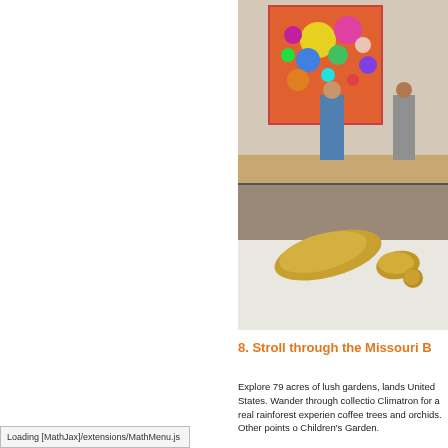[Figure (photo): Art museum interior showing two visitors viewing a large colorful painting on the wall; below is a second image showing golden sculptural forms on a white pedestal]
8. Stroll through the Missouri B
Explore 79 acres of lush gardens, lands United States. Wander through collectio Climatron for a real rainforest experien coffee trees and orchids. Other points o Children's Garden.
Loading [MathJax]/extensions/MathMenu.js